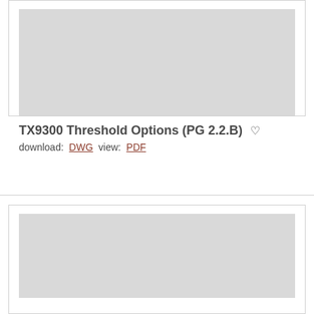[Figure (other): Thumbnail image placeholder (gray rectangle) for TX9300 Threshold Options engineering drawing]
TX9300 Threshold Options (PG 2.2.B)
download: DWG  view: PDF
[Figure (other): Thumbnail image placeholder (gray rectangle) for second engineering drawing card]